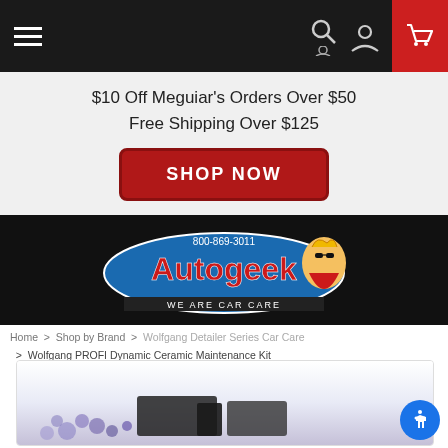Navigation bar with hamburger menu, search, account, and cart icons
$10 Off Meguiar's Orders Over $50
Free Shipping Over $125
SHOP NOW
[Figure (logo): Autogeek logo with tagline 'WE ARE CAR CARE' and phone number 800-869-3011]
Home > Shop by Brand > Wolfgang Detailer Series Car Care > Wolfgang PROFI Dynamic Ceramic Maintenance Kit
[Figure (photo): Partial product photo of Wolfgang PROFI Dynamic Ceramic Maintenance Kit]